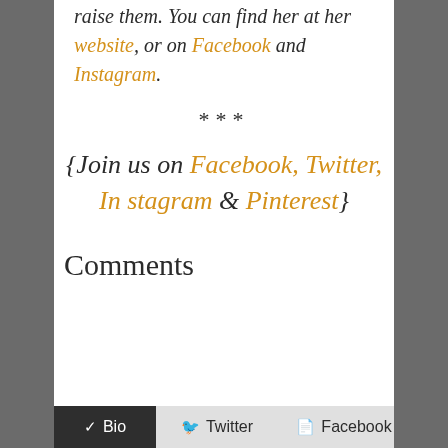raise them. You can find her at her website, or on Facebook and Instagram.
***
{Join us on Facebook, Twitter, Instagram & Pinterest}
Comments
Bio  Twitter  Facebook